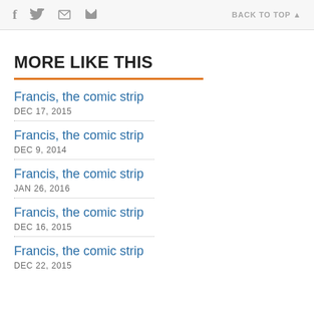f [twitter] [print] [email]   BACK TO TOP
MORE LIKE THIS
Francis, the comic strip
DEC 17, 2015
Francis, the comic strip
DEC 9, 2014
Francis, the comic strip
JAN 26, 2016
Francis, the comic strip
DEC 16, 2015
Francis, the comic strip
DEC 22, 2015